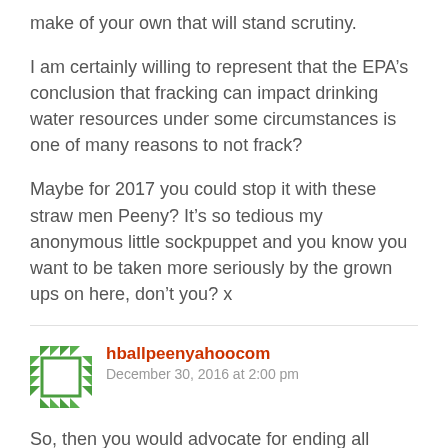make of your own that will stand scrutiny.
I am certainly willing to represent that the EPA’s conclusion that fracking can impact drinking water resources under some circumstances is one of many reasons to not frack?
Maybe for 2017 you could stop it with these straw men Peeny? It’s so tedious my anonymous little sockpuppet and you know you want to be taken more seriously by the grown ups on here, don’t you? x
hballpeenyahoocom
December 30, 2016 at 2:00 pm
So, then you would advocate for ending all